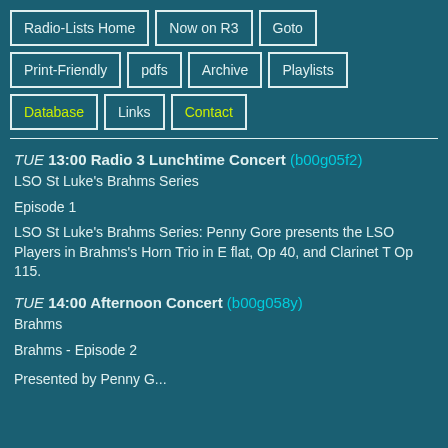Radio-Lists Home
Now on R3
Goto
Print-Friendly
pdfs
Archive
Playlists
Database
Links
Contact
TUE 13:00 Radio 3 Lunchtime Concert (b00g05f2)
LSO St Luke's Brahms Series
Episode 1
LSO St Luke's Brahms Series: Penny Gore presents the LSO Players in Brahms's Horn Trio in E flat, Op 40, and Clarinet T Op 115.
TUE 14:00 Afternoon Concert (b00g058y)
Brahms
Brahms - Episode 2
Presented by Penny G...